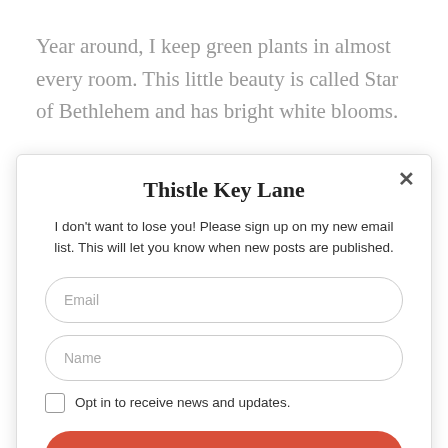Year around, I keep green plants in almost every room. This little beauty is called Star of Bethlehem and has bright white blooms.
Thistle Key Lane
I don't want to lose you! Please sign up on my new email list. This will let you know when new posts are published.
Email
Name
Opt in to receive news and updates.
SUBSCRIBE